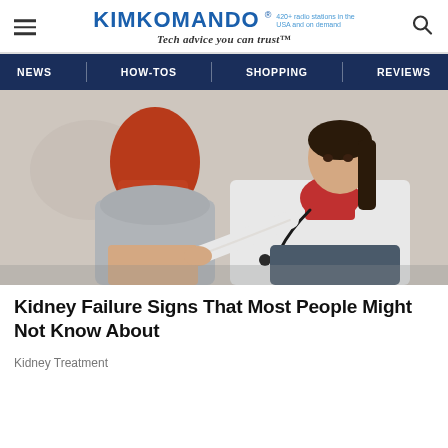KIMKOMANDO® 420+ radio stations in the USA and on demand Tech advice you can trust™
[Figure (screenshot): Website navigation bar with menu items: NEWS, HOW-TOS, SHOPPING, REVIEWS on dark navy background]
[Figure (photo): A doctor in a white coat examining a female patient with red hair from behind, pressing on her back/kidney area. Doctor looks directly at camera with serious expression.]
Kidney Failure Signs That Most People Might Not Know About
Kidney Treatment